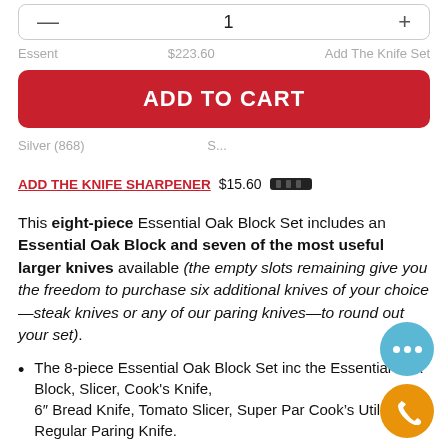— 1 +
Essent $223.60 Add The Knife Set
ADD TO CART
Silver (868)
ADD THE KNIFE SHARPENER $15.60
This eight-piece Essential Oak Block Set includes an Essential Oak Block and seven of the most useful larger knives available (the empty slots remaining give you the freedom to purchase six additional knives of your choice—steak knives or any of our paring knives—to round out your set).
The 8-piece Essential Oak Block Set includes the Essential Oak Block, Slicer, Cook's Knife, 6″ Bread Knife, Tomato Slicer, Super Parer, Cook's Utility, and Regular Paring Knife.